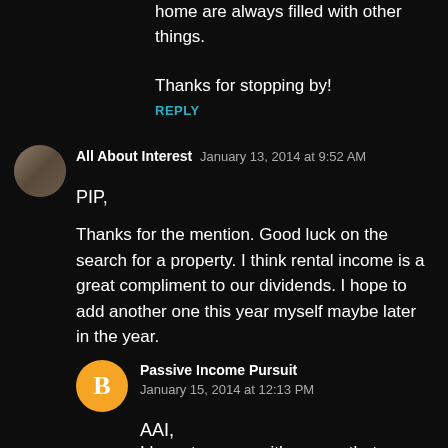home are always filled with other things.

Thanks for stopping by!
REPLY
All About Interest  January 13, 2014 at 9:52 AM
PIP,
Thanks for the mention. Good luck on the search for a property. I think rental income is a great compliment to our dividends. I hope to add another one this year myself maybe later in the year.
Passive Income Pursuit  January 15, 2014 at 12:13 PM
AAI,
I have to agree with you on that one.